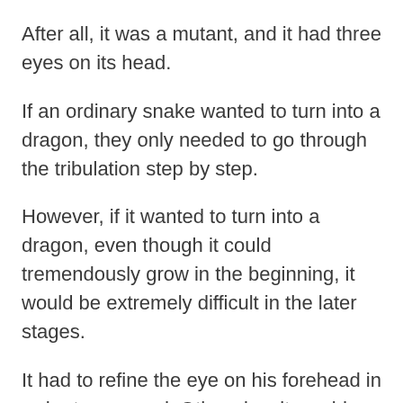After all, it was a mutant, and it had three eyes on its head.
If an ordinary snake wanted to turn into a dragon, they only needed to go through the tribulation step by step.
However, if it wanted to turn into a dragon, even though it could tremendously grow in the beginning, it would be extremely difficult in the later stages.
It had to refine the eye on his forehead in order to succeed. Otherwise, it would only be a demon dragon and not a true dragon.
It knew how difficult it would be.
If the Golden Dragon was not careful, it would die and disappear into ashes.